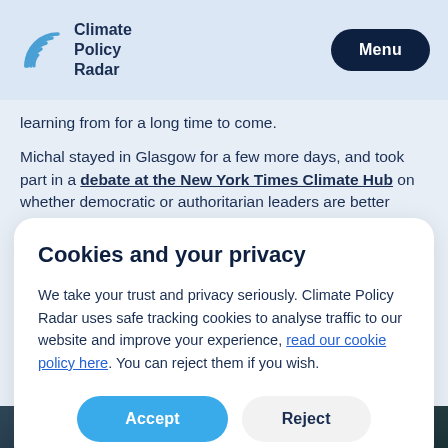Climate Policy Radar — Menu
learning from for a long time to come.
Michal stayed in Glasgow for a few more days, and took part in a debate at the New York Times Climate Hub on whether democratic or authoritarian leaders are better
Cookies and your privacy
We take your trust and privacy seriously. Climate Policy Radar uses safe tracking cookies to analyse traffic to our website and improve your experience, read our cookie policy here. You can reject them if you wish.
Accept
Reject